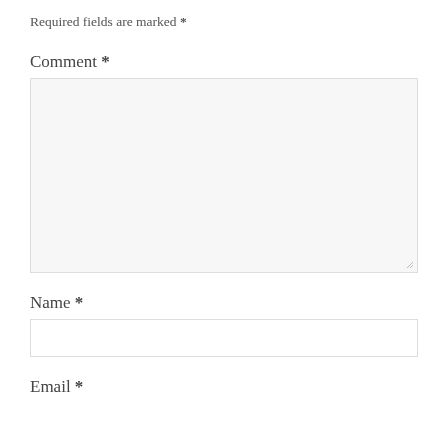Required fields are marked *
Comment *
[Figure (other): Large textarea input box for comment, with resize handle at bottom right]
Name *
[Figure (other): Single-line text input box for name]
Email *